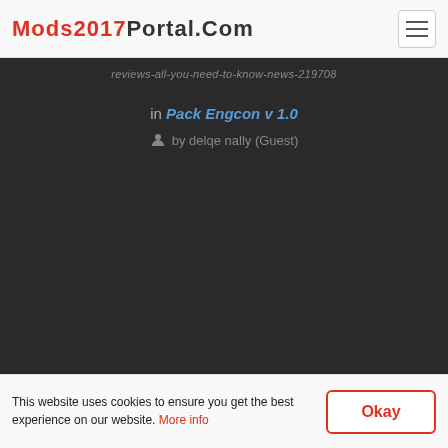Mods2017Portal.Com
reviews-all-you-need-to-know-news-219708
in Pack Engcon v 1.0
by delqe nally (Guest)
© Mods2017Portal.com
This website uses cookies to ensure you get the best experience on our website. More info